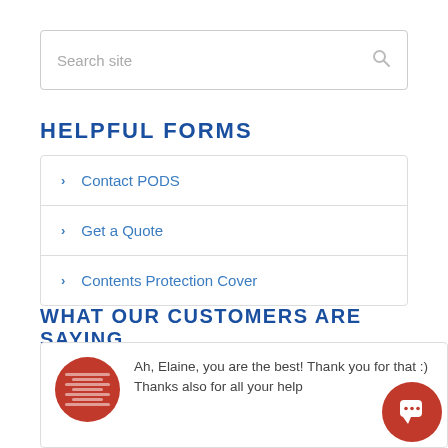Search site
HELPFUL FORMS
> Contact PODS
> Get a Quote
> Contents Protection Cover
WHAT OUR CUSTOMERS ARE SAYING
Ah, Elaine, you are the best! Thank you for that :) Thanks also for all your help